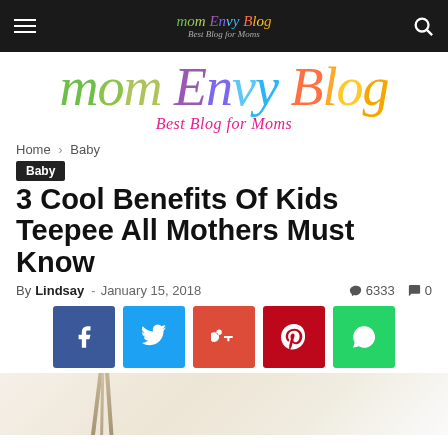Mom Envy Blog - Best Blog for Moms
[Figure (logo): Mom Envy Blog colorful handwritten logo with subtitle 'Best Blog for Moms']
Home › Baby
Baby
3 Cool Benefits Of Kids Teepee All Mothers Must Know
By Lindsay - January 15, 2018  6333  0
[Figure (infographic): Social sharing buttons: Facebook, Twitter, Google+, Pinterest, WhatsApp]
[Figure (photo): Partial article hero image showing a kids teepee]